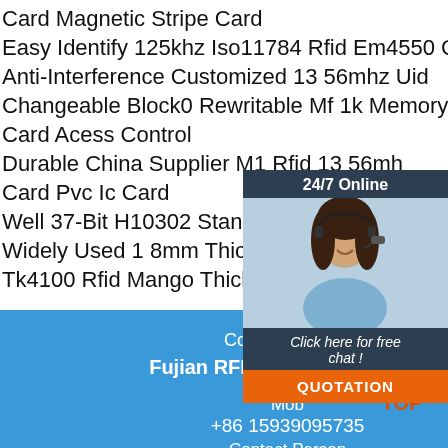Card Magnetic Stripe Card
Easy Identify 125khz Iso11784 Rfid Em4550 Card
Anti-Interference Customized 13 56mhz Uid Changeable Block0 Rewritable Mf 1k Memory Smart Card Acess Control
Durable China Supplier M1 Rfid 13 56mhz Card Pvc Ic Card
Well 37-Bit H10302 Standard Proximity C
Widely Used 1 8mm Thickness 125khz Em
Tk4100 Rfid Mango Thick Proximity Card
[Figure (photo): Customer service representative with headset, smiling, with chat widget overlay showing 24/7 Online, Click here for free chat!, and QUOTATION button]
Company name
Fujian RFID Solution Co., Ltd
Mob
+86 15939095735
[Figure (logo): TOP logo with orange dots arranged in triangle above red/orange text TOP]
Contact Person